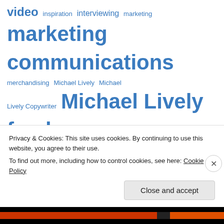[Figure (infographic): Tag cloud with blue hyperlink-style words of varying sizes representing topics related to Michael Lively freelance copywriter. Words include: video, inspiration, interviewing, marketing, marketing (large), communications (large), merchandising, Michael Lively, Michael Lively Copywriter, Michael Lively freelance (large), copywriter (large), movies, online article writing, optimization (large), print, producer, real estate writing, real state writing, realty writing, remote video production, script, SEO (partial). Partially obscured by a cookie consent overlay at the bottom.]
Privacy & Cookies: This site uses cookies. By continuing to use this website, you agree to their use.
To find out more, including how to control cookies, see here: Cookie Policy
Close and accept